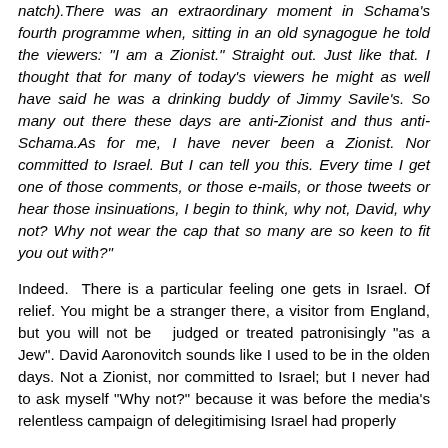natch).There was an extraordinary moment in Schama’s fourth programme when, sitting in an old synagogue he told the viewers: “I am a Zionist.” Straight out. Just like that. I thought that for many of today’s viewers he might as well have said he was a drinking buddy of Jimmy Savile’s. So many out there these days are anti-Zionist and thus anti-Schama.As for me, I have never been a Zionist. Nor committed to Israel. But I can tell you this. Every time I get one of those comments, or those e-mails, or those tweets or hear those insinuations, I begin to think, why not, David, why not? Why not wear the cap that so many are so keen to fit you out with?”
Indeed. There is a particular feeling one gets in Israel. Of relief. You might be a stranger there, a visitor from England, but you will not be judged or treated patronisingly “as a Jew”. David Aaronovitch sounds like I used to be in the olden days. Not a Zionist, nor committed to Israel; but I never had to ask myself “Why not?” because it was before the media’s relentless campaign of delegitimising Israel had properly